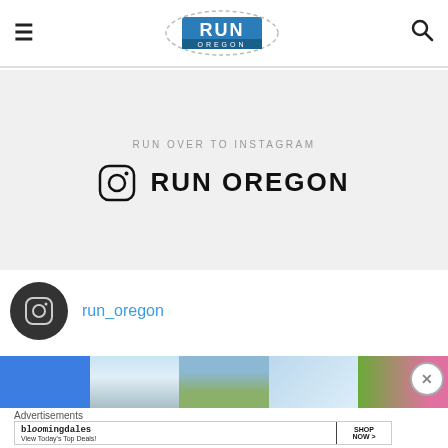Run Oregon — navigation header with hamburger menu, logo, and search icon
RUN OVER TO INSTAGRAM
RUN OREGON
run_oregon
[Figure (photo): Instagram photo strip showing 5 thumbnail images: solid blue, sky/trees, hills/landscape, light blue sky, green grass with pink flowers]
Advertisements
[Figure (screenshot): Bloomingdales advertisement: 'bloomingdales — View Today's Top Deals!' with a woman wearing a wide-brim hat and a SHOP NOW > button]